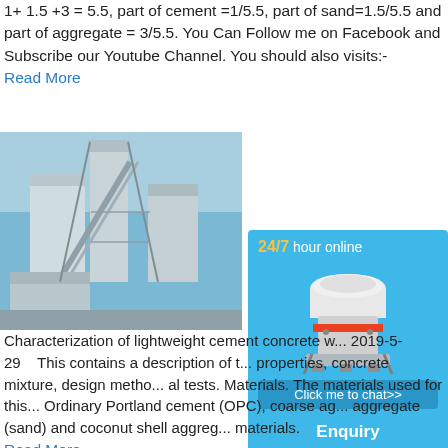1+ 1.5 +3 = 5.5, part of cement =1/5.5, part of sand=1.5/5.5 and part of aggregate = 3/5.5. You Can Follow me on Facebook and Subscribe our Youtube Channel. You should also visits:-
Read More
[Figure (photo): Photo of a large industrial cement/concrete batching plant structure with steel framework and silos against a blue sky.]
[Figure (infographic): Advertisement box with blue background showing '24/7 hour online', an image of a cone crusher machine, a 'Click me to chat>>' button, 'Enquiry' text, and 'limingjlmofen' username.]
Characterization of lightweight cement concrete w... 2019-5-29    This contains a description of t... properties, concrete mixture, design metho... al tests. Materials. The materials used for this... Ordinary Portland cement (OPC), coarse ag... aggregate (sand) and coconut shell aggreg... materials.
Read More